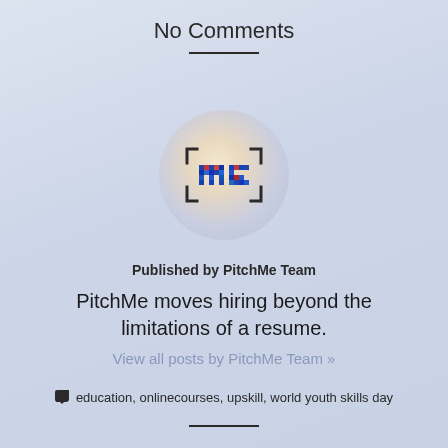No Comments
[Figure (logo): PitchMe logo: circular glowing background with bracket-framed 'ME' text in pixelated blue style]
Published by PitchMe Team
PitchMe moves hiring beyond the limitations of a resume.
View all posts by PitchMe Team »
education, onlinecourses, upskill, world youth skills day